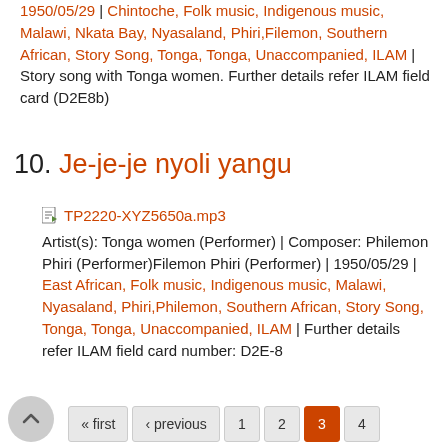1950/05/29 | Chintoche, Folk music, Indigenous music, Malawi, Nkata Bay, Nyasaland, Phiri,Filemon, Southern African, Story Song, Tonga, Tonga, Unaccompanied, ILAM | Story song with Tonga women. Further details refer ILAM field card (D2E8b)
10. Je-je-je nyoli yangu
TP2220-XYZ5650a.mp3
Artist(s): Tonga women (Performer) | Composer: Philemon Phiri (Performer)Filemon Phiri (Performer) | 1950/05/29 | East African, Folk music, Indigenous music, Malawi, Nyasaland, Phiri,Philemon, Southern African, Story Song, Tonga, Tonga, Unaccompanied, ILAM | Further details refer ILAM field card number: D2E-8
« first ‹ previous 1 2 3 4